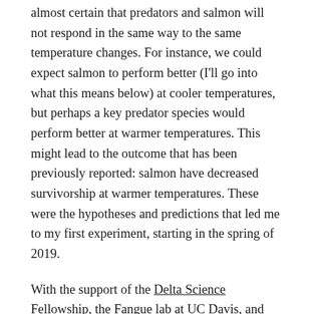almost certain that predators and salmon will not respond in the same way to the same temperature changes. For instance, we could expect salmon to perform better (I'll go into what this means below) at cooler temperatures, but perhaps a key predator species would perform better at warmer temperatures. This might lead to the outcome that has been previously reported: salmon have decreased survivorship at warmer temperatures. These were the hypotheses and predictions that led me to my first experiment, starting in the spring of 2019.
With the support of the Delta Science Fellowship, the Fangue lab at UC Davis, and my collaborators (Ken Zillig and Cyril Michel), I set out to determine how temperature influenced the risk of predation in juvenile Chinook salmon. The predator in question was